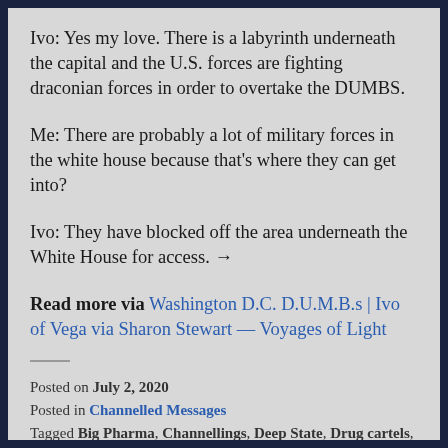Ivo: Yes my love. There is a labyrinth underneath the capital and the U.S. forces are fighting draconian forces in order to overtake the DUMBS.
Me: There are probably a lot of military forces in the white house because that's where they can get into?
Ivo: They have blocked off the area underneath the White House for access. →
Read more via Washington D.C. D.U.M.B.s | Ivo of Vega via Sharon Stewart — Voyages of Light
Posted on July 2, 2020
Posted in Channelled Messages
Tagged Big Pharma, Channellings, Deep State, Drug cartels, Drug Trade, Drug Trafficking, DUMBs, ETs, Galactics, Ivo of